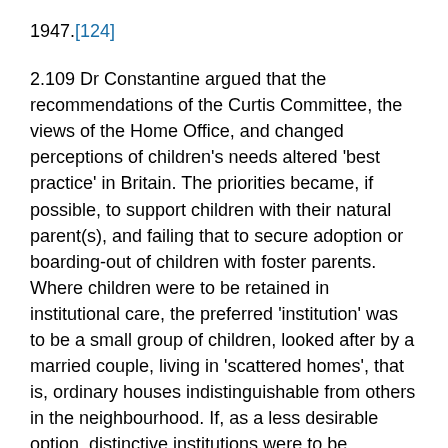1947.[124]
2.109 Dr Constantine argued that the recommendations of the Curtis Committee, the views of the Home Office, and changed perceptions of children's needs altered 'best practice' in Britain. The priorities became, if possible, to support children with their natural parent(s), and failing that to secure adoption or boarding-out of children with foster parents. Where children were to be retained in institutional care, the preferred 'institution' was to be a small group of children, looked after by a married couple, living in 'scattered homes', that is, ordinary houses indistinguishable from others in the neighbourhood. If, as a less desirable option, distinctive institutions were to be operated, these should allow children in small groups of different ages and both sexes to be looked after by a trained house 'mother' in purpose built 'cottage homes'. Far less acceptable were large 'barrack' institutions, especially those in which children slept in dormitories and dined in large groups. It was also